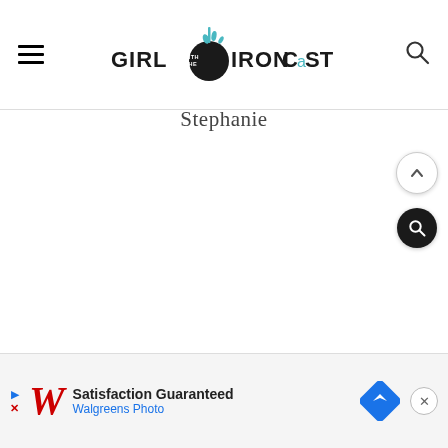Girl with the Iron Cast — website header with hamburger menu, logo, and search icon
Stephanie
[Figure (screenshot): Blank white content area — main page body with no visible content]
[Figure (other): Scroll-to-top button (chevron up, light circle) and dark search button on right side]
[Figure (other): Walgreens advertisement bar: play button, W logo, 'Satisfaction Guaranteed' text, 'Walgreens Photo' in blue, blue diamond navigation icon, close X button]